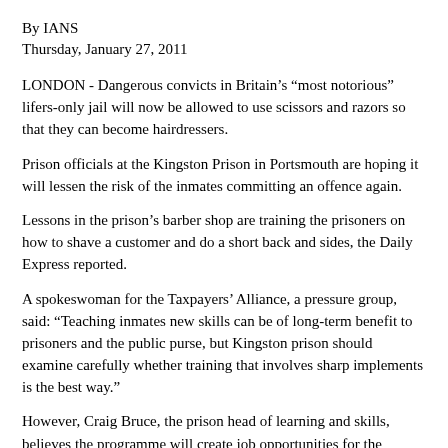By IANS
Thursday, January 27, 2011
LONDON - Dangerous convicts in Britain's “most notorious” lifers-only jail will now be allowed to use scissors and razors so that they can become hairdressers.
Prison officials at the Kingston Prison in Portsmouth are hoping it will lessen the risk of the inmates committing an offence again.
Lessons in the prison’s barber shop are training the prisoners on how to shave a customer and do a short back and sides, the Daily Express reported.
A spokeswoman for the Taxpayers’ Alliance, a pressure group, said: “Teaching inmates new skills can be of long-term benefit to prisoners and the public purse, but Kingston prison should examine carefully whether training that involves sharp implements is the best way.”
However, Craig Bruce, the prison head of learning and skills, believes the programme will create job opportunities for the convicts.
“Our primary principle is protecting the public, but the other main